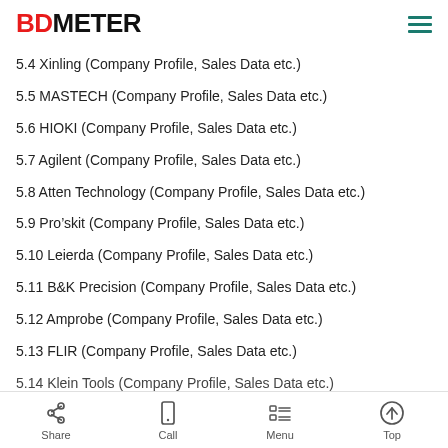BDMETER
5.4 Xinling (Company Profile, Sales Data etc.)
5.5 MASTECH (Company Profile, Sales Data etc.)
5.6 HIOKI (Company Profile, Sales Data etc.)
5.7 Agilent (Company Profile, Sales Data etc.)
5.8 Atten Technology (Company Profile, Sales Data etc.)
5.9 Pro’skit (Company Profile, Sales Data etc.)
5.10 Leierda (Company Profile, Sales Data etc.)
5.11 B&K Precision (Company Profile, Sales Data etc.)
5.12 Amprobe (Company Profile, Sales Data etc.)
5.13 FLIR (Company Profile, Sales Data etc.)
5.14 Klein Tools (Company Profile, Sales Data etc.)
Share  Call  Menu  Top